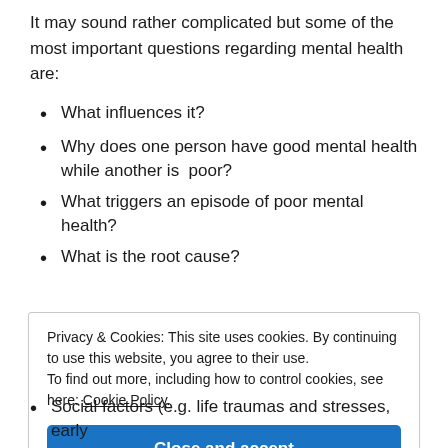It may sound rather complicated but some of the most important questions regarding mental health are:
What influences it?
Why does one person have good mental health while another is  poor?
What triggers an episode of poor mental health?
What is the root cause?
Privacy & Cookies: This site uses cookies. By continuing to use this website, you agree to their use. To find out more, including how to control cookies, see here: Cookie Policy
Close and accept
Social factors (e.g. life traumas and stresses, early